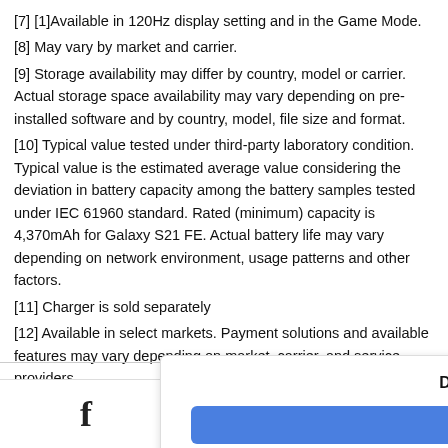[7] [1]Available in 120Hz display setting and in the Game Mode.
[8] May vary by market and carrier.
[9] Storage availability may differ by country, model or carrier. Actual storage space availability may vary depending on pre-installed software and by country, model, file size and format.
[10] Typical value tested under third-party laboratory condition. Typical value is the estimated average value considering the deviation in battery capacity among the battery samples tested under IEC 61960 standard. Rated (minimum) capacity is 4,370mAh for Galaxy S21 FE. Actual battery life may vary depending on network environment, usage patterns and other factors.
[11] Charger is sold separately
[12] Available in select markets. Payment solutions and available features may vary depending on market, carrier, and service providers.
[13] Consistent with IPX8 rating, water resistant in up to 5 feet of water for up to 30 minutes. Rinse residue/dry after wet.
Did you find this article helpful?
Reply